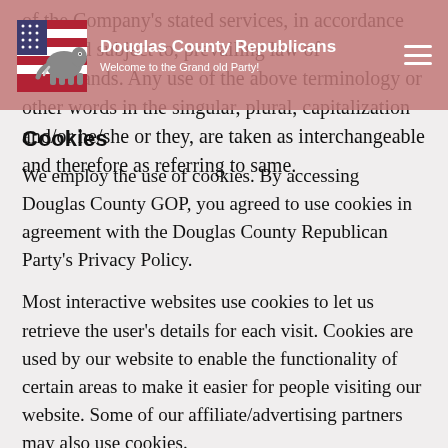Douglas County Republicans — Welcome to the Grand old Party!
of the Company's stated services, in accordance with and subject to, prevailing law of Netherlands. Any use of the above terminology or other words in the singular, plural, capitalization and/or he/she or they, are taken as interchangeable and therefore as referring to same.
Cookies
We employ the use of cookies. By accessing Douglas County GOP, you agreed to use cookies in agreement with the Douglas County Republican Party's Privacy Policy.
Most interactive websites use cookies to let us retrieve the user's details for each visit. Cookies are used by our website to enable the functionality of certain areas to make it easier for people visiting our website. Some of our affiliate/advertising partners may also use cookies.